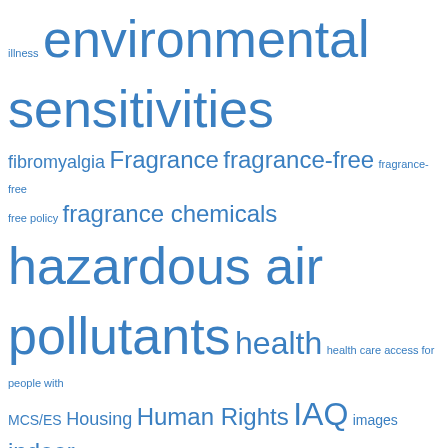[Figure (infographic): Tag cloud of health and environmental terms in various font sizes, all in blue. Terms include: illness, environmental sensitivities, fibromyalgia, Fragrance, fragrance-free, fragrance-free policy, fragrance chemicals, hazardous air pollutants, health, health care access for people with MCS/ES, Housing, Human Rights, IAQ, images, indoor air quality, invisible disabilities, laundry, masks, MCS, MCS/ES, MCS housing, migraines, Mold, multiple chemical sensitivities, multiple chemical sensitivity, pesticides, petrochemicals, phthalates, Research, science, sensitive to pollution, toxic chemicals, toxic trespass, video, VOCs]